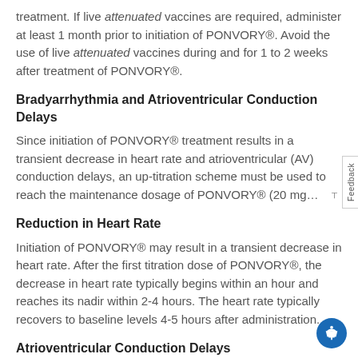treatment. If live attenuated vaccines are required, administer at least 1 month prior to initiation of PONVORY®. Avoid the use of live attenuated vaccines during and for 1 to 2 weeks after treatment of PONVORY®.
Bradyarrhythmia and Atrioventricular Conduction Delays
Since initiation of PONVORY® treatment results in a transient decrease in heart rate and atrioventricular (AV) conduction delays, an up-titration scheme must be used to reach the maintenance dosage of PONVORY® (20 mg…
Reduction in Heart Rate
Initiation of PONVORY® may result in a transient decrease in heart rate. After the first titration dose of PONVORY®, the decrease in heart rate typically begins within an hour and reaches its nadir within 2-4 hours. The heart rate typically recovers to baseline levels 4-5 hours after administration.
Atrioventricular Conduction Delays
Initiation of PONVORY® treatment has been associated